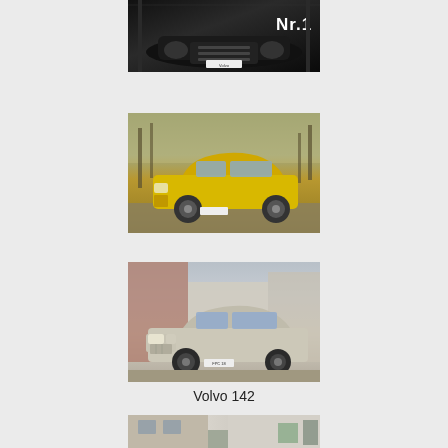[Figure (photo): Black car photographed from the front with 'Nr.1' text overlay in white]
[Figure (photo): Yellow Volvo car photographed outdoors with bare trees in background]
[Figure (photo): Light-colored Volvo 142 sedan photographed on a cobblestone street]
Volvo 142
[Figure (photo): Partial view of a building/street scene at bottom of page]